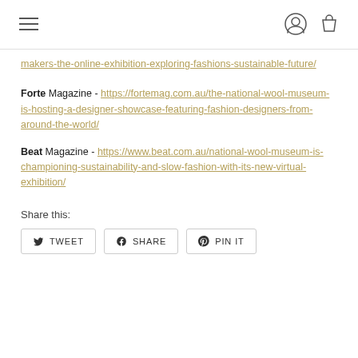[Navigation header with hamburger menu, user icon, and bag icon]
makers-the-online-exhibition-exploring-fashions-sustainable-future/
Forte Magazine - https://fortemag.com.au/the-national-wool-museum-is-hosting-a-designer-showcase-featuring-fashion-designers-from-around-the-world/
Beat Magazine - https://www.beat.com.au/national-wool-museum-is-championing-sustainability-and-slow-fashion-with-its-new-virtual-exhibition/
Share this:
TWEET  SHARE  PIN IT